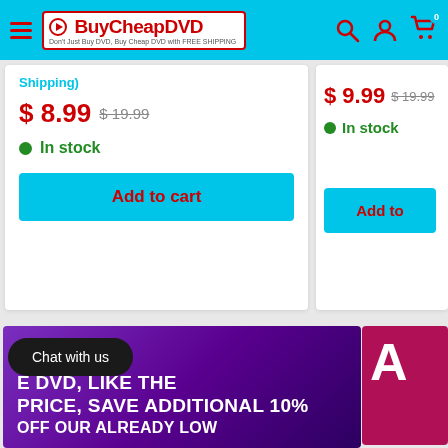BuyCheapDVD - Don't Just Buy DVD, Buy Cheap DVD with FREE SHIPPING
Shipping)
$ 8.99  $ 19.99
In stock
Add to cart
$ 9.99  $ 19.99
In stock
Add to
Chat with us
E DVD, LIKE THE PRICE, SAVE ADDITIONAL 10% OFF OUR ALREADY LOW